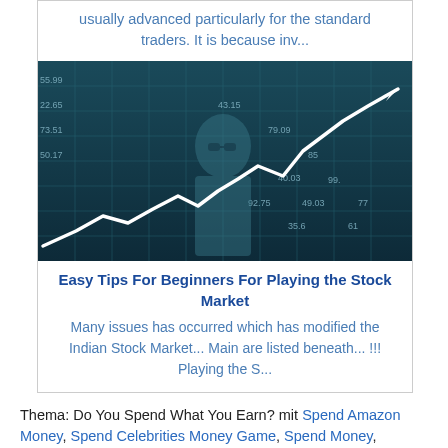usually advanced particularly for the standard traders. It is because inv...
[Figure (photo): Stock market chart with a white line graph trending upward overlaid on a teal grid background with financial numbers. A person with glasses is visible in the background.]
Easy Tips For Beginners For Playing the Stock Market
Many issues has occurred which has modified the Indian Stock Market... Main are listed beneath... !!! Playing the S...
Thema: Do You Spend What You Earn? mit Spend Amazon Money, Spend Celebrities Money Game, Spend Money,